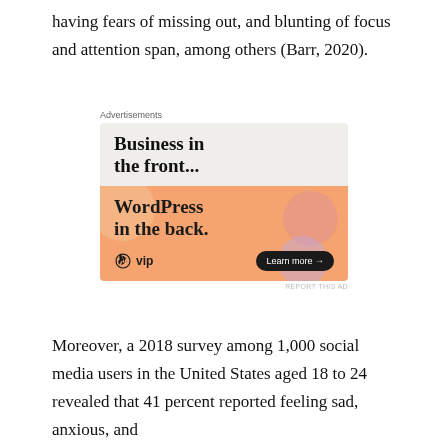having fears of missing out, and blunting of focus and attention span, among others (Barr, 2020).
[Figure (other): Advertisement banner for WordPress VIP. Top section on light gray background reads 'Business in the front...' in large bold serif font. Bottom section on orange gradient background reads 'WordPress in the back.' with WordPress VIP logo and 'Learn more →' button.]
Moreover, a 2018 survey among 1,000 social media users in the United States aged 18 to 24 revealed that 41 percent reported feeling sad, anxious, and